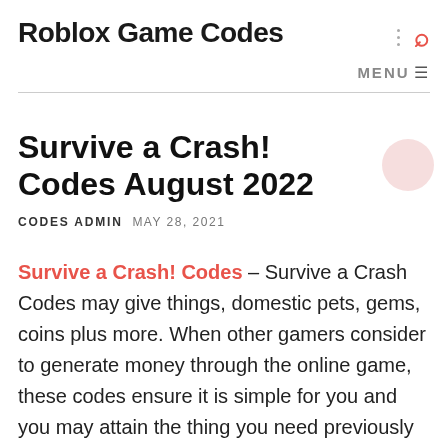Roblox Game Codes
Survive a Crash! Codes August 2022
CODES ADMIN  MAY 28, 2021
Survive a Crash! Codes – Survive a Crash Codes may give things, domestic pets, gems, coins plus more. When other gamers consider to generate money through the online game, these codes ensure it is simple for you and you may attain the thing you need previously with leaving behind other folks your